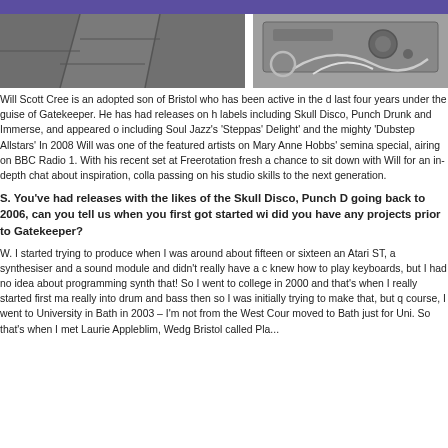[Figure (photo): Decorative header strip with two photos: left showing stone pavement, right showing audio equipment/cables]
Will Scott Cree is an adopted son of Bristol who has been active in the d last four years under the guise of Gatekeeper. He has had releases on h labels including Skull Disco, Punch Drunk and Immerse, and appeared o including Soul Jazz's 'Steppas' Delight' and the mighty 'Dubstep Allstars' In 2008 Will was one of the featured artists on Mary Anne Hobbs' semina special, airing on BBC Radio 1. With his recent set at Freerotation fresh a chance to sit down with Will for an in-depth chat about inspiration, colla passing on his studio skills to the next generation.
S. You've had releases with the likes of the Skull Disco, Punch D going back to 2006, can you tell us when you first got started wi did you have any projects prior to Gatekeeper?
W. I started trying to produce when I was around about fifteen or sixteen an Atari ST, a synthesiser and a sound module and didn't really have a c knew how to play keyboards, but I had no idea about programming synth that! So I went to college in 2000 and that's when I really started first ma really into drum and bass then so I was initially trying to make that, but q course, I went to University in Bath in 2003 – I'm not from the West Cour moved to Bath just for Uni. So that's when I met Laurie Appleblim, Wedg Bristol called Pla...